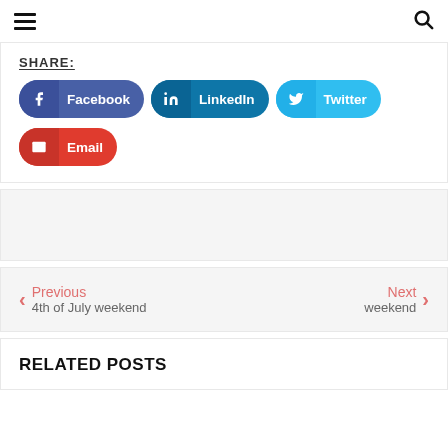≡  🔍
SHARE:
Facebook   LinkedIn   Twitter   Email
Previous
4th of July weekend
Next
weekend
RELATED POSTS